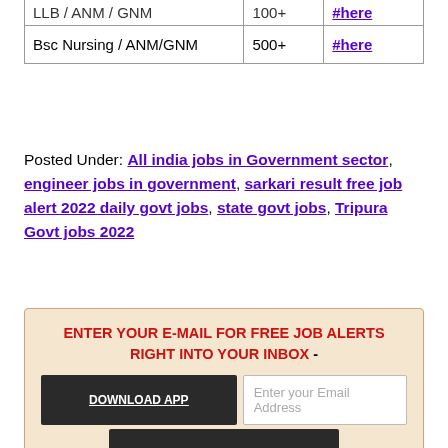|  |  |  |
| --- | --- | --- |
| LLB / ANM / GNM | 100+ | #here |
| Bsc Nursing / ANM/GNM | 500+ | #here |
Posted Under: All india jobs in Government sector, engineer jobs in government, sarkari result free job alert 2022 daily govt jobs, state govt jobs, Tripura Govt jobs 2022
ENTER YOUR E-MAIL FOR FREE JOB ALERTS RIGHT INTO YOUR INBOX - DOWNLOAD APP | Enter your Email Address | GET FREE JOBS | Don't Forget To Open your Email and Confirm